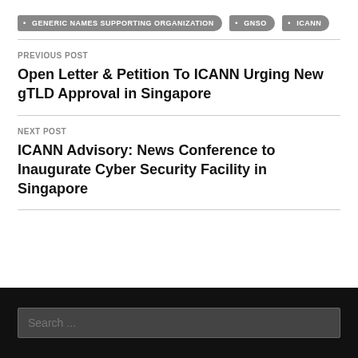• GENERIC NAMES SUPPORTING ORGANIZATION  • GNSO  • ICANN
PREVIOUS POST
Open Letter & Petition To ICANN Urging New gTLD Approval in Singapore
NEXT POST
ICANN Advisory: News Conference to Inaugurate Cyber Security Facility in Singapore
Search ...